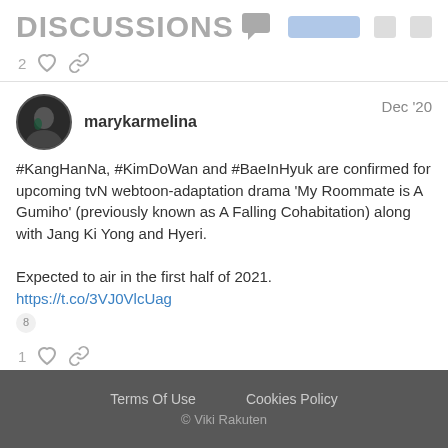DISCUSSIONS
2 ♡ 🔗
marykarmelina  Dec '20
#KangHanNa, #KimDoWan and #BaeInHyuk are confirmed for upcoming tvN webtoon-adaptation drama 'My Roommate is A Gumiho' (previously known as A Falling Cohabitation) along with Jang Ki Yong and Hyeri.

Expected to air in the first half of 2021. https://t.co/3VJ0VlcUag
1 ♡ 🔗
Terms Of Use    Cookies Policy
© Viki Rakuten